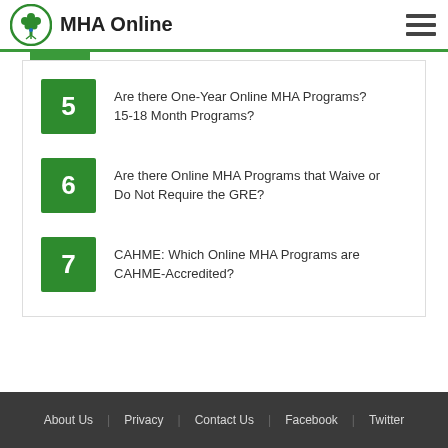MHA Online
5 Are there One-Year Online MHA Programs? 15-18 Month Programs?
6 Are there Online MHA Programs that Waive or Do Not Require the GRE?
7 CAHME: Which Online MHA Programs are CAHME-Accredited?
About Us  Privacy  Contact Us  Facebook  Twitter